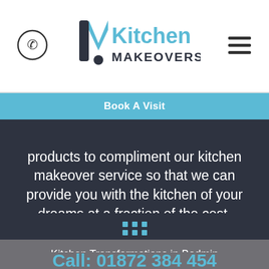[Figure (logo): Kitchen Makeovers logo with phone icon on left and hamburger menu on right]
Book A Visit
products to compliment our kitchen makeover service so that we can provide you with the kitchen of your dreams at a fraction of the cost.
[Figure (other): 3x2 grid of blue square dots]
Kitchen Transformations in Bodmin
Call: 01872 384 454